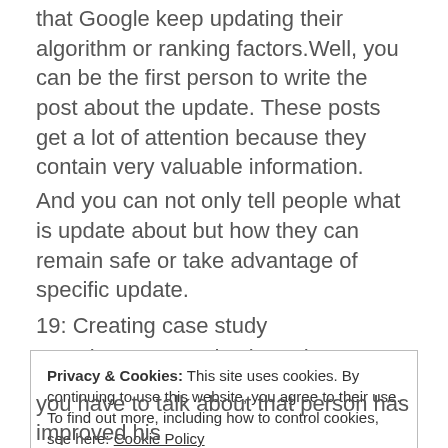that Google keep updating their algorithm or ranking factors.Well, you can be the first person to write the post about the update. These posts get a lot of attention because they contain very valuable information.
And you can not only tell people what is update about but how they can remain safe or take advantage of specific update.
19: Creating case study
Creating case study about the great clients can get you links from those clients.
Privacy & Cookies: This site uses cookies. By continuing to use this website, you agree to their use.
To find out more, including how to control cookies, see here: Cookie Policy
you have to talk about that person has improved his